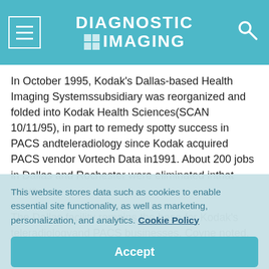DIAGNOSTIC IMAGING
In October 1995, Kodak's Dallas-based Health Imaging Systemssubsidiary was reorganized and folded into Kodak Health Sciences(SCAN 10/11/95), in part to remedy spotty success in PACS andteleradiology since Kodak acquired PACS vendor Vortech Data in1991. About 200 jobs in Dallas and Rochester were eliminated inthat move.
The Dallas facility remains the base for Kodak's teleradiologyand PACS businesses, Coyne noted. The
This website stores data such as cookies to enable essential site functionality, as well as marketing, personalization, and analytics. Cookie Policy
Accept
Deny